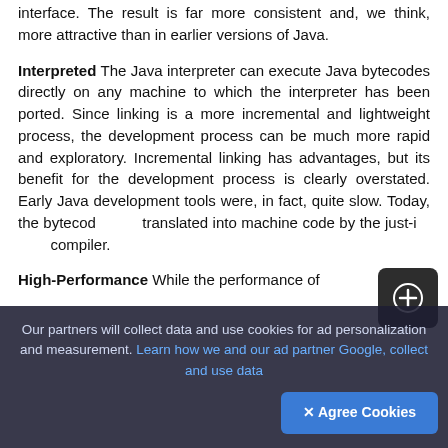interface. The result is far more consistent and, we think, more attractive than in earlier versions of Java.
Interpreted The Java interpreter can execute Java bytecodes directly on any machine to which the interpreter has been ported. Since linking is a more incremental and lightweight process, the development process can be much more rapid and exploratory. Incremental linking has advantages, but its benefit for the development process is clearly overstated. Early Java development tools were, in fact, quite slow. Today, the bytecodes are translated into machine code by the just-in-time compiler.
High-Performance While the performance of
Our partners will collect data and use cookies for ad personalization and measurement. Learn how we and our ad partner Google, collect and use data
✕ Agree Cookies